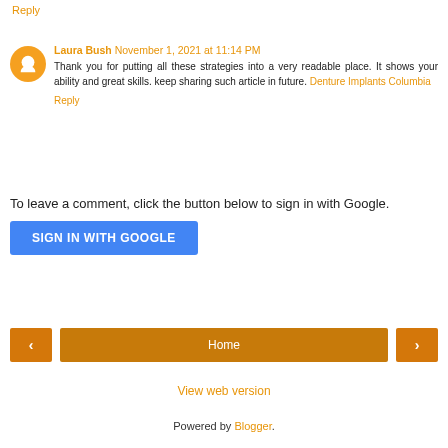Reply
Laura Bush  November 1, 2021 at 11:14 PM
Thank you for putting all these strategies into a very readable place. It shows your ability and great skills. keep sharing such article in future. Denture Implants Columbia
Reply
To leave a comment, click the button below to sign in with Google.
[Figure (other): Blue SIGN IN WITH GOOGLE button]
[Figure (other): Navigation bar with left arrow, Home button, right arrow]
View web version
Powered by Blogger.